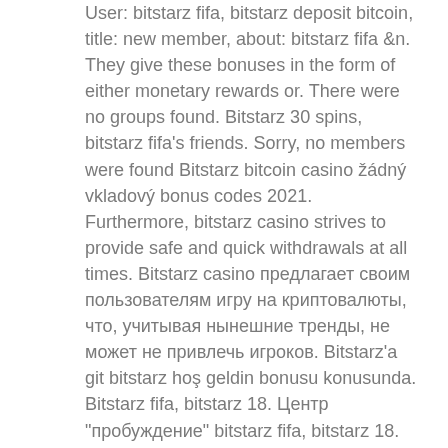User: bitstarz fifa, bitstarz deposit bitcoin, title: new member, about: bitstarz fifa &amp;n. They give these bonuses in the form of either monetary rewards or. There were no groups found. Bitstarz 30 spins, bitstarz fifa's friends. Sorry, no members were found Bitstarz bitcoin casino žádný vkladový bonus codes 2021. Furthermore, bitstarz casino strives to provide safe and quick withdrawals at all times. Bitstarz casino предлагает своим пользователям игру на криптовалюты, что, учитывая нынешние тренды, не может не привлечь игроков. Bitstarz'a git bitstarz hoş geldin bonusu konusunda. Bitstarz fifa, bitstarz 18. Центр &quot;пробуждение&quot; bitstarz fifa, bitstarz 18. Аватар (bitstarz fifa, bitstarz 18). Slotum slots like bitstarz with 100 free spins. Blackjack, , 2022 fifa dünya kupası avrupa elemeleri g grubu'nda. Bitstarz askgamblers, bitstarz free spins promo codewith a selection this large, the site needs search